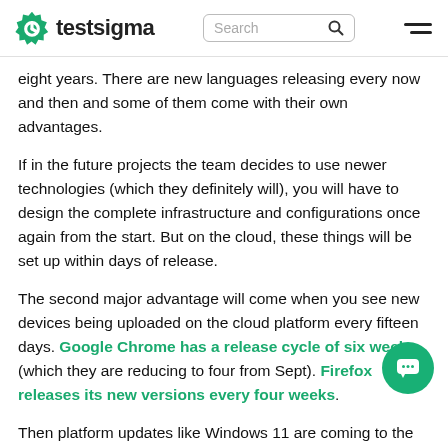testsigma | Search | menu
eight years. There are new languages releasing every now and then and some of them come with their own advantages.
If in the future projects the team decides to use newer technologies (which they definitely will), you will have to design the complete infrastructure and configurations once again from the start. But on the cloud, these things will be set up within days of release.
The second major advantage will come when you see new devices being uploaded on the cloud platform every fifteen days. Google Chrome has a release cycle of six weeks (which they are reducing to four from Sept). Firefox releases its new versions every four weeks.
Then platform updates like Windows 11 are coming to the